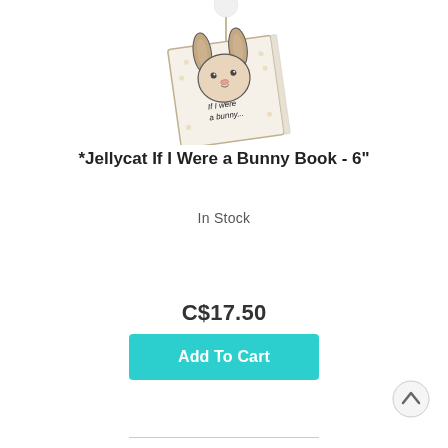[Figure (illustration): Jellycat If I Were a Bunny Book shown as a small square book with a bunny face illustration on the cover and text 'If I were a bunny...' The book is displayed propped up at an angle, with a white pompom rabbit tail visible at the top on a stick.]
*Jellycat If I Were a Bunny Book - 6"
In Stock
C$17.50
Add To Cart